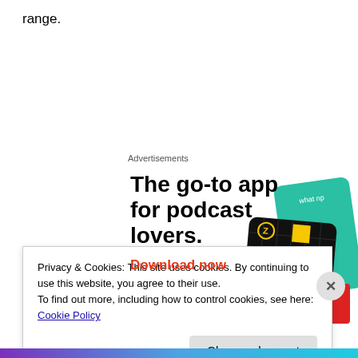range.
Advertisements
[Figure (illustration): Advertisement for a podcast app. Bold text reads 'The go-to app for podcast lovers.' with a red 'Download now' call-to-action link. On the right side are illustrated app cards including a dark card labeled '99% INVISIBLE' with a yellow square, and a teal card labeled 'On...']
Privacy & Cookies: This site uses cookies. By continuing to use this website, you agree to their use.
To find out more, including how to control cookies, see here: Cookie Policy
Close and accept